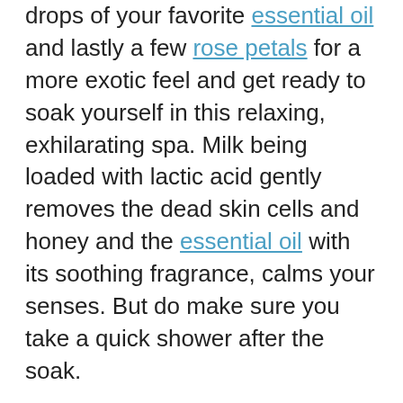drops of your favorite essential oil and lastly a few rose petals for a more exotic feel and get ready to soak yourself in this relaxing, exhilarating spa. Milk being loaded with lactic acid gently removes the dead skin cells and honey and the essential oil with its soothing fragrance, calms your senses. But do make sure you take a quick shower after the soak.
2. Apple pie spa for skin polishing: Did you know that along with numerous nutritional benefits, apples are also good for